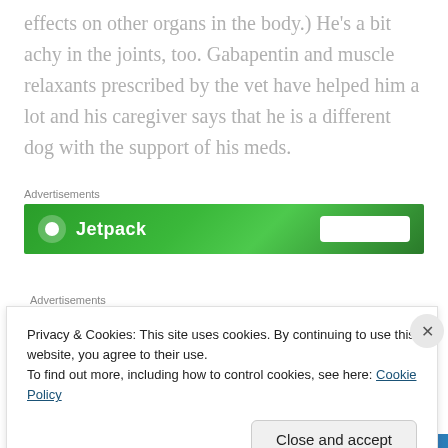effects on other organs in the body.) He's a bit achy in the joints, too. Gabapentin and muscle relaxants prescribed by the vet have helped him a lot and his caregiver says that he is a different dog with the support of his meds.
Advertisements
[Figure (other): Green Jetpack advertisement banner with logo and white button]
Advertisements
Privacy & Cookies: This site uses cookies. By continuing to use this website, you agree to their use.
To find out more, including how to control cookies, see here: Cookie Policy
Close and accept